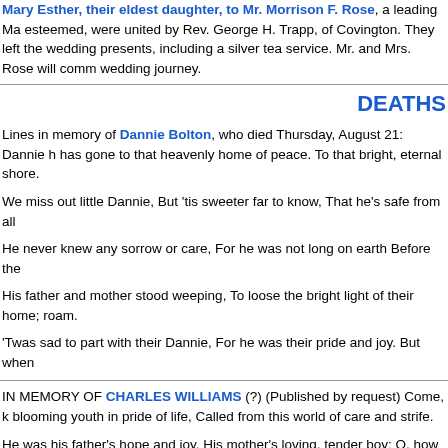Mary Esther, their eldest daughter, to Mr. Morrison F. Rose, a leading Ma esteemed, were united by Rev. George H. Trapp, of Covington. They left the wedding presents, including a silver tea service. Mr. and Mrs. Rose will comm wedding journey.
DEATHS
Lines in memory of Dannie Bolton, who died Thursday, August 21: Dannie h has gone to that heavenly home of peace. To that bright, eternal shore.
We miss out little Dannie, But 'tis sweeter far to know, That he's safe from all
He never knew any sorrow or care, For he was not long on earth Before the
His father and mother stood weeping, To loose the bright light of their home; roam.
'Twas sad to part with their Dannie, For he was their pride and joy. But when
IN MEMORY OF CHARLES WILLIAMS (?) (Published by request) Come, k blooming youth in pride of life, Called from this world of care and strife.
He was his father's hope and joy, His mother's loving, tender boy; O, how his
To him the future did look bright, All future prospects shone with light, But of
He performed his duties without fear; Was loved by all his friends most dear; home.